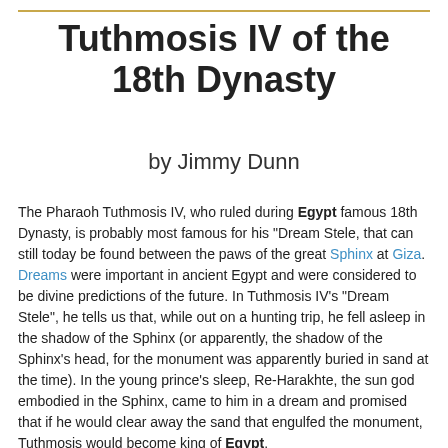Tuthmosis IV of the 18th Dynasty
by Jimmy Dunn
The Pharaoh Tuthmosis IV, who ruled during Egypt famous 18th Dynasty, is probably most famous for his "Dream Stele, that can still today be found between the paws of the great Sphinx at Giza. Dreams were important in ancient Egypt and were considered to be divine predictions of the future. In Tuthmosis IV's "Dream Stele", he tells us that, while out on a hunting trip, he fell asleep in the shadow of the Sphinx (or apparently, the shadow of the Sphinx's head, for the monument was apparently buried in sand at the time). In the young prince's sleep, Re-Harakhte, the sun god embodied in the Sphinx, came to him in a dream and promised that if he would clear away the sand that engulfed the monument, Tuthmosis would become king of Egypt.